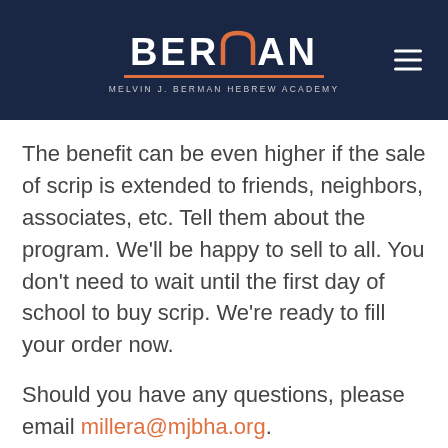BERMAN — MELVIN J. BERMAN HEBREW ACADEMY
The benefit can be even higher if the sale of scrip is extended to friends, neighbors, associates, etc. Tell them about the program. We'll be happy to sell to all. You don't need to wait until the first day of school to buy scrip. We're ready to fill your order now.
Should you have any questions, please email millera@mjbha.org.
[caldera_form id="CF5f31e72214f61"]